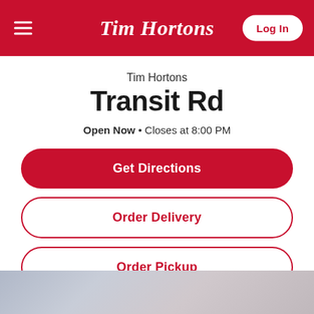Tim Hortons — Log In
Tim Hortons
Transit Rd
Open Now • Closes at 8:00 PM
Get Directions
Order Delivery
Order Pickup
[Figure (photo): Blurred outdoor photo at the bottom of the page]